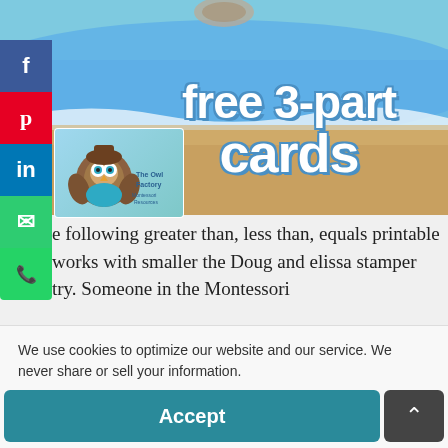[Figure (illustration): Beach/ocean background with sand, waves, and sky. Shows a website screenshot with social share sidebar (Facebook, Pinterest, LinkedIn, Email, WhatsApp buttons) on the left. An owl mascot/logo for 'The Owl Factory' is visible. Large text overlay reads 'free 3-part cards' in white bubble letters with blue outline.]
e following greater than, less than, equals printable works with smaller the Doug and elissa stamper try. Someone in the Montessori
We use cookies to optimize our website and our service. We never share or sell your information.
Accept